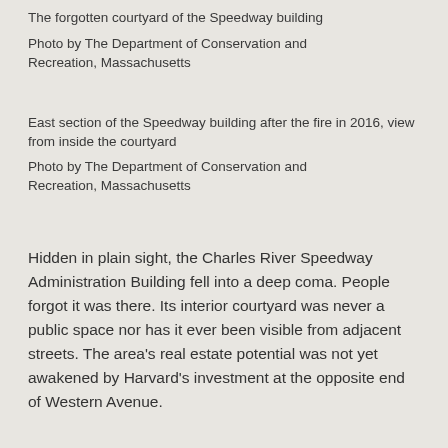The forgotten courtyard of the Speedway building
Photo by The Department of Conservation and Recreation, Massachusetts
East section of the Speedway building after the fire in 2016, view from inside the courtyard
Photo by The Department of Conservation and Recreation, Massachusetts
Hidden in plain sight, the Charles River Speedway Administration Building fell into a deep coma. People forgot it was there. Its interior courtyard was never a public space nor has it ever been visible from adjacent streets. The area's real estate potential was not yet awakened by Harvard's investment at the opposite end of Western Avenue.